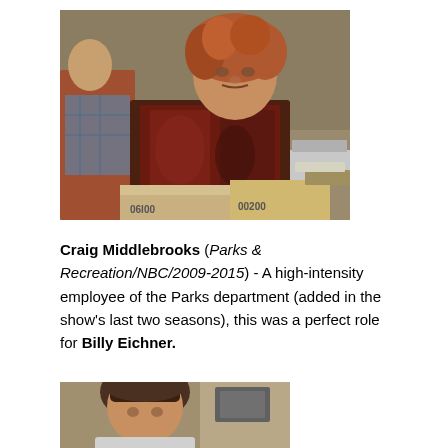[Figure (photo): A man with curly reddish-brown hair wearing a dark patterned jacket, leaning over cardboard boxes labeled with numbers like 06100 and 00200, with another person visible in the background.]
Craig Middlebrooks (Parks & Recreation/NBC/2009-2015) - A high-intensity employee of the Parks department (added in the show's last two seasons), this was a perfect role for Billy Eichner.
[Figure (photo): Partial view of a person with dark hair in an indoor setting.]